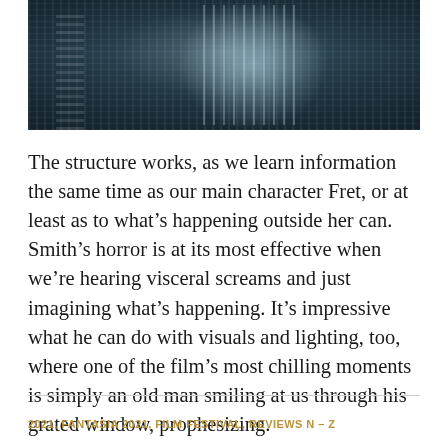[Figure (photo): A dark, moody film still with blue-green tones showing a shadowy figure with vertical light streaks and striped patterns, from a horror film.]
The structure works, as we learn information the same time as our main character Fret, or at least as to what's happening outside her can. Smith's horror is at its most effective when we're hearing visceral screams and just imagining what's happening. It's impressive what he can do with visuals and lighting, too, where one of the film's most chilling moments is simply an old man smiling at us through his grated window, prophesizing.
2021, FANTASIA 2021, FILM FESTIVAL, REVIEWS N – Z